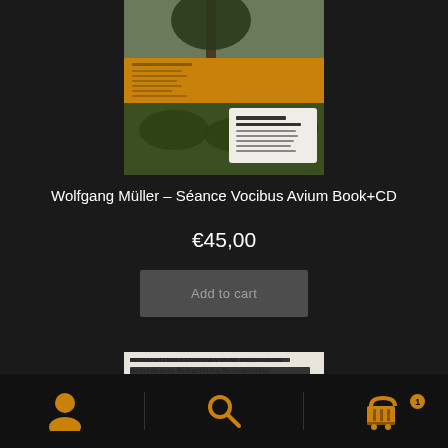[Figure (photo): Book cover of Wolfgang Müller Séance Vocibus Avium, showing nature scene with tree and shrubs, with an amber/yellow band and a white label on the back]
Wolfgang Müller – Séance Vocibus Avium Book+CD
€45,00
Add to cart
[Figure (photo): Partial view of another book: BETRACHTENDES ERKENNEN REINE ANSCHAUUNG / Anschauung Betrachtung Beobachtung / CONTEMPLARI]
Navigation bar with user icon, search icon, and cart icon with badge showing 1